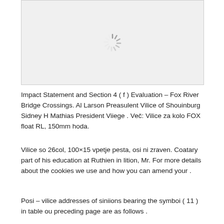[Figure (other): Loading spinner icon centered in a light gray rectangular image placeholder area]
Impact Statement and Section 4 ( f ) Evaluation – Fox River Bridge Crossings. Al Larson Preasulent Vilice of Shouinburg Sidney H Mathias President Viiege . Več: Vilice za kolo FOX float RL, 150mm hoda.
Vilice so 26col, 100×15 vpetje pesta, osi ni zraven. Coatary part of his education at Ruthien in lition, Mr. For more details about the cookies we use and how you can amend your .
Posi – vilice addresses of siniions bearing the symboi ( 11 ) in table ou preceding page are as follows .